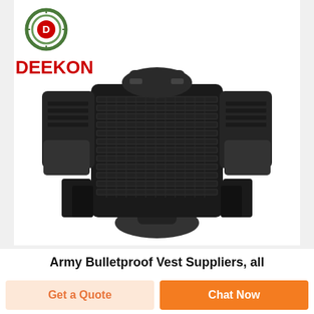[Figure (photo): Black tactical full-body bulletproof vest with MOLLE webbing, shoulder armor, and side panels, displayed on a mannequin. Deekon brand logo visible in top-left corner.]
Army Bulletproof Vest Suppliers, all
Get a Quote
Chat Now